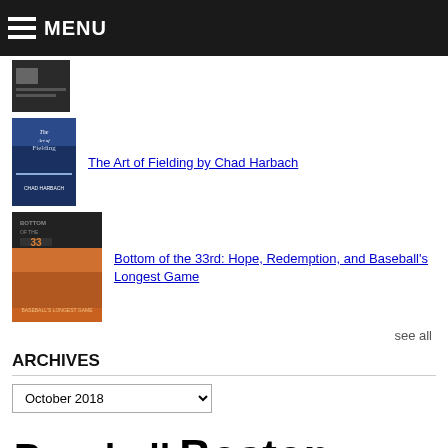MENU
[Figure (photo): Book thumbnail 1 (dark cover)]
[Figure (photo): Book cover: The Art of Fielding by Chad Harbach]
The Art of Fielding by Chad Harbach
[Figure (photo): Book cover: Bottom of the 33rd]
Bottom of the 33rd: Hope, Redemption, and Baseball's Longest Game
see all
ARCHIVES
October 2018
Baseball Boston Crime Daily News Education Election 2012 Environment Grantland Immigration James "Whitey" Bulger J... John Martorano mike barnicle Newspapers Religion Roger W... Tim Russert U.S. Attorney's Office in Boston Violence War Youth